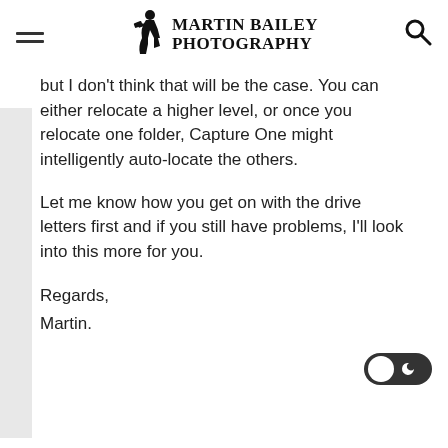Martin Bailey Photography
but I don't think that will be the case. You can either relocate a higher level, or once you relocate one folder, Capture One might intelligently auto-locate the others.
Let me know how you get on with the drive letters first and if you still have problems, I'll look into this more for you.
Regards,
Martin.